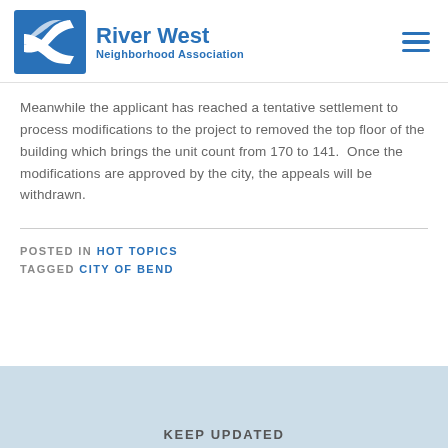[Figure (logo): River West Neighborhood Association logo with stylized 'S' river shape in blue and organization name]
Meanwhile the applicant has reached a tentative settlement to process modifications to the project to removed the top floor of the building which brings the unit count from 170 to 141.  Once the modifications are approved by the city, the appeals will be withdrawn.
POSTED IN HOT TOPICS
TAGGED CITY OF BEND
KEEP UPDATED